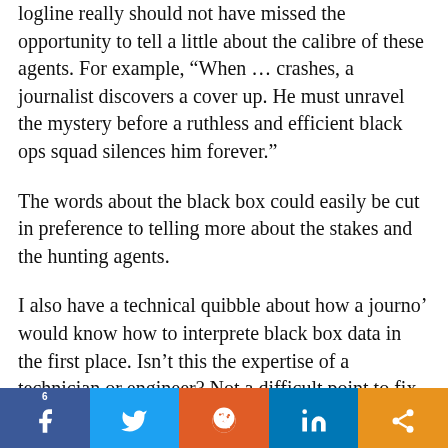logline really should not have missed the opportunity to tell a little about the calibre of these agents. For example, “When … crashes, a journalist discovers a cover up. He must unravel the mystery before a ruthless and efficient black ops squad silences him forever.”
The words about the black box could easily be cut in preference to telling more about the stakes and the hunting agents.
I also have a technical quibble about how a journo’ would know how to interprete black box data in the first place. Isn’t this the expertise of a technician or engineer? Not a difficult point to fix, however. And not critical to the effectiveness of the logline.
6 [facebook] [twitter] [reddit] [linkedin] [share]